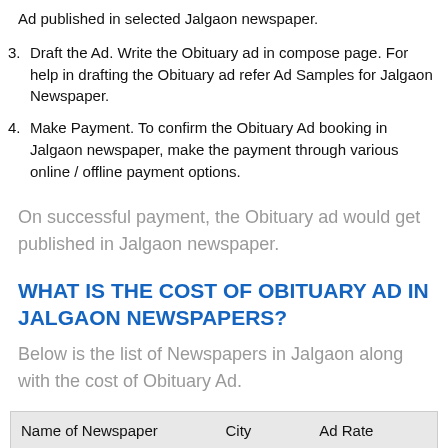Ad published in selected Jalgaon newspaper.
3. Draft the Ad. Write the Obituary ad in compose page. For help in drafting the Obituary ad refer Ad Samples for Jalgaon Newspaper.
4. Make Payment. To confirm the Obituary Ad booking in Jalgaon newspaper, make the payment through various online / offline payment options.
On successful payment, the Obituary ad would get published in Jalgaon newspaper.
WHAT IS THE COST OF OBITUARY AD IN JALGAON NEWSPAPERS?
Below is the list of Newspapers in Jalgaon along with the cost of Obituary Ad.
| Name of Newspaper | City | Ad Rate |
| --- | --- | --- |